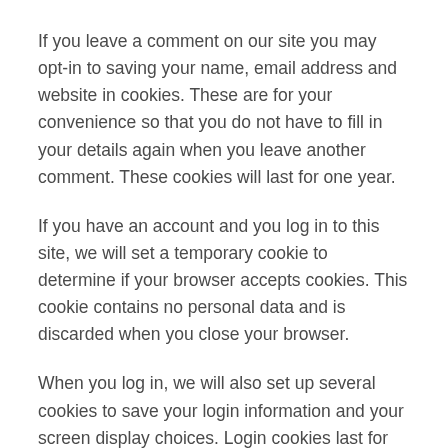If you leave a comment on our site you may opt-in to saving your name, email address and website in cookies. These are for your convenience so that you do not have to fill in your details again when you leave another comment. These cookies will last for one year.
If you have an account and you log in to this site, we will set a temporary cookie to determine if your browser accepts cookies. This cookie contains no personal data and is discarded when you close your browser.
When you log in, we will also set up several cookies to save your login information and your screen display choices. Login cookies last for two days, and screen options cookies last for a year. If you select “Remember Me”, your login will persist for two weeks∧ If you log out of your account, the login cookies will be